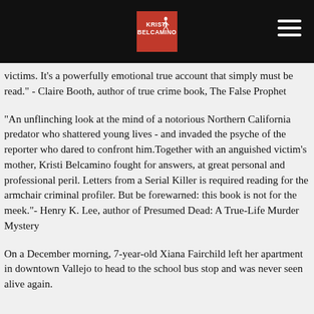Kristi Belcamino
victims. It's a powerfully emotional true account that simply must be read." - Claire Booth, author of true crime book, The False Prophet
"An unflinching look at the mind of a notorious Northern California predator who shattered young lives - and invaded the psyche of the reporter who dared to confront him.Together with an anguished victim's mother, Kristi Belcamino fought for answers, at great personal and professional peril. Letters from a Serial Killer is required reading for the armchair criminal profiler. But be forewarned: this book is not for the meek."- Henry K. Lee, author of Presumed Dead: A True-Life Murder Mystery
On a December morning, 7-year-old Xiana Fairchild left her apartment in downtown Vallejo to head to the school bus stop and was never seen alive again.